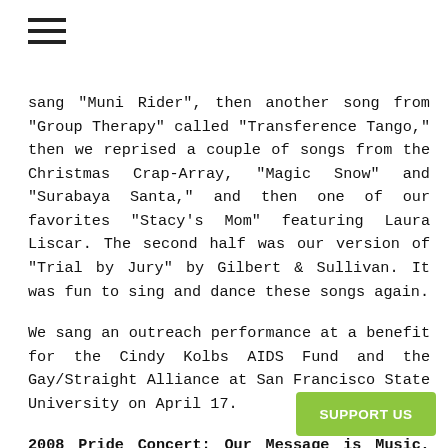[Figure (other): Hamburger menu icon (three horizontal lines)]
sang "Muni Rider", then another song from "Group Therapy" called "Transference Tango," then we reprised a couple of songs from the Christmas Crap-Array, "Magic Snow" and "Surabaya Santa," and then one of our favorites "Stacy's Mom" featuring Laura Liscar. The second half was our version of "Trial by Jury" by Gilbert & Sullivan. It was fun to sing and dance these songs again.
We sang an outreach performance at a benefit for the Cindy Kolbs AIDS Fund and the Gay/Straight Alliance at San Francisco State University on April 17.
2008 Pride Concert: Our Message is Music, June 26 & 27, First Unitarian Church. This Pride concert was a special one in which we celebrated the 30th anniversary of the San Francisco Les[bian] Band. Three of the Band's former
[Figure (other): Green SUPPORT US button overlay in lower right corner]